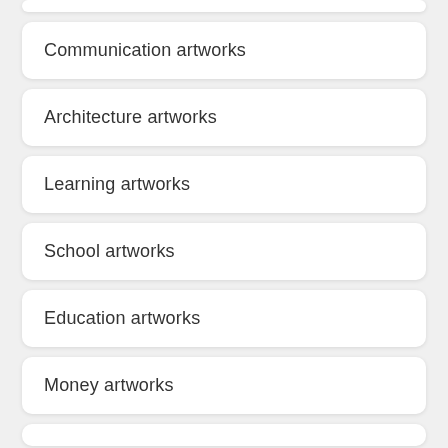Communication artworks
Architecture artworks
Learning artworks
School artworks
Education artworks
Money artworks